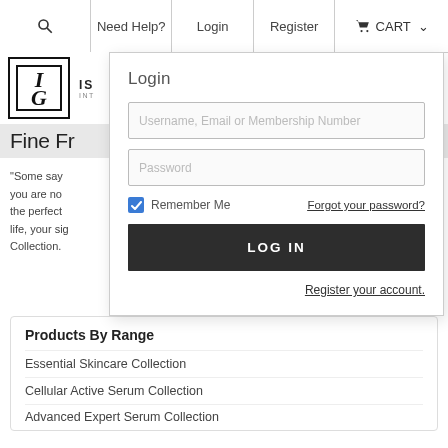🔍  Need Help?  Login  Register  🛒 CART ∨
[Figure (logo): IG script monogram logo in black border box with 'IS INTERNATIONAL' text beside it]
Fine Fr...
"Some say ... you are no... the perfect ... life, your sig... Collection.
[Figure (screenshot): Login dropdown overlay with Username/Email/Membership Number input, Password input, Remember Me checkbox, Forgot your password? link, LOG IN button, Register your account link]
Products By Range
Essential Skincare Collection
Cellular Active Serum Collection
Advanced Expert Serum Collection